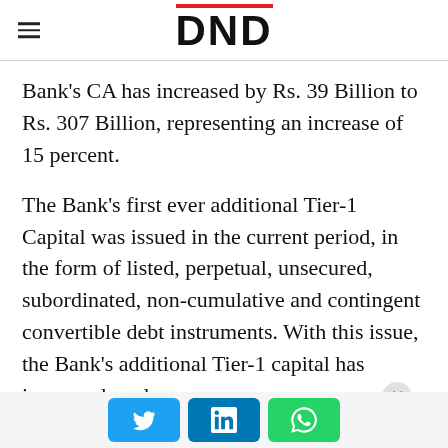DND
Bank's CA has increased by Rs. 39 Billion to Rs. 307 Billion, representing an increase of 15 percent.
The Bank's first ever additional Tier-1 Capital was issued in the current period, in the form of listed, perpetual, unsecured, subordinated, non-cumulative and contingent convertible debt instruments. With this issue, the Bank's additional Tier-1 capital has improved, and